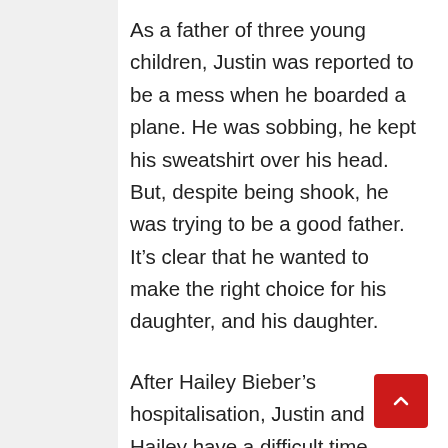As a father of three young children, Justin was reported to be a mess when he boarded a plane. He was sobbing, he kept his sweatshirt over his head. But, despite being shook, he was trying to be a good father. It’s clear that he wanted to make the right choice for his daughter, and his daughter.
After Hailey Bieber’s hospitalisation, Justin and Hailey have a difficult time dealing with their daughter’s latest illness. While they are trying to make their daughter as comfortable as possible, it is hard to understand how they felt at the moment. The pop star was reportedly sobbing as he climbed on board the plane. The singer’s wife and child are reportedly both recovering...